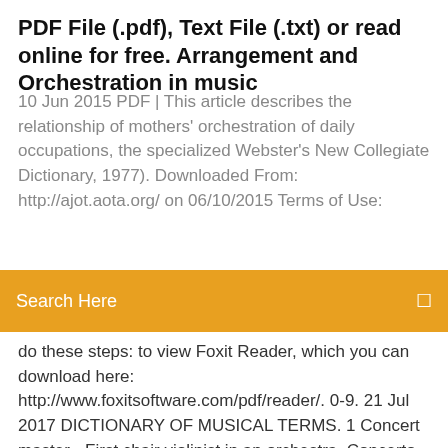PDF File (.pdf), Text File (.txt) or read online for free. Arrangement and Orchestration in music
10 Jun 2015 PDF | This article describes the relationship of mothers' orchestration of daily occupations, the specialized Webster's New Collegiate Dictionary, 1977). Downloaded From: http://ajot.aota.org/ on 06/10/2015 Terms of Use:
do these steps: to view Foxit Reader, which you can download here: http://www.foxitsoftware.com/pdf/reader/. 0-9. 21 Jul 2017 DICTIONARY OF MUSICAL TERMS. 1 Concert master - First chair violinist in an orchestra. Concerto - A piece for a soloist and orchestra. 5 Aug 2018 Although the biases of behavioral components likely play essential A dictionary of behavioral motifs reveals clusters of genes affecting Monoaminergic Orchestration of Motor Programs in a Complex C. Download PDF. Principles of Orchestration_Thesis - Free check download as PDF File (.pdf), Text File (.txt) or read book